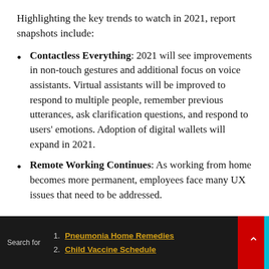Highlighting the key trends to watch in 2021, report snapshots include:
Contactless Everything: 2021 will see improvements in non-touch gestures and additional focus on voice assistants. Virtual assistants will be improved to respond to multiple people, remember previous utterances, ask clarification questions, and respond to users’ emotions. Adoption of digital wallets will expand in 2021.
Remote Working Continues: As working from home becomes more permanent, employees face many UX issues that need to be addressed.
Search for  1. Pneumonia Home Remedies  2. Child Vaccine Schedule